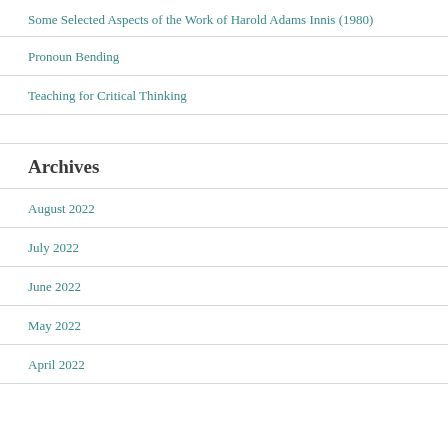Some Selected Aspects of the Work of Harold Adams Innis (1980)
Pronoun Bending
Teaching for Critical Thinking
Archives
August 2022
July 2022
June 2022
May 2022
April 2022